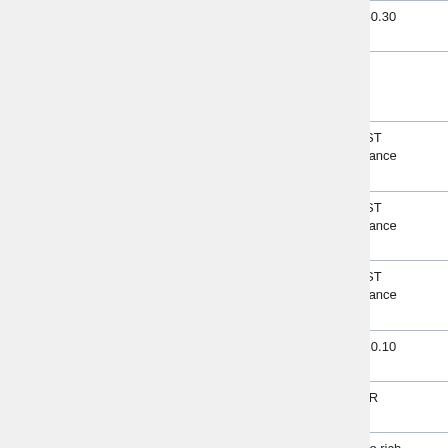| Source | Range | Description |
| --- | --- | --- |
| Gene3D: G3DSA:3.40.50.300 | 161-305 | G3DSA:3.40.50.30 |
| HMMPfam: PF00931 IPR002182 | 164-449 | NB-ARC,NBS NB-ARC |
| FPrintScan: PR00364 IPR000767 | 184-199 | DISEASERSIST Disease resistance |
| FPrintScan: PR00364 IPR000767 | 262-276 | DISEASERSIST Disease resistance |
| FPrintScan: PR00364 IPR000767 | 357-371 | DISEASERSIST Disease resistance |
| Gene3D: G3DSA:3.80.10.10 | 543-785 | G3DSA:3.80.10.10 |
| superfamily: SSF52047 | 547-789 | SSF52047,LRR |
| HMMPfam: PF13855 | 553-607 | LRR_8,Leucine rich |
| ProfileScan: | ... | LRR,Leucine-rich r |